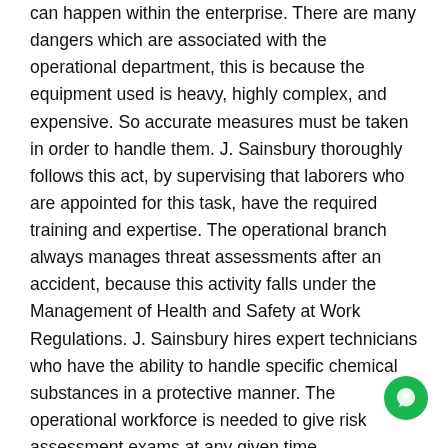can happen within the enterprise. There are many dangers which are associated with the operational department, this is because the equipment used is heavy, highly complex, and expensive. So accurate measures must be taken in order to handle them. J. Sainsbury thoroughly follows this act, by supervising that laborers who are appointed for this task, have the required training and expertise. The operational branch always manages threat assessments after an accident, because this activity falls under the Management of Health and Safety at Work Regulations. J. Sainsbury hires expert technicians who have the ability to handle specific chemical substances in a protective manner. The operational workforce is needed to give risk assessment exams at any given time.
Health and Safety at Work Act 1974
This is notable information on legal procedures, where the